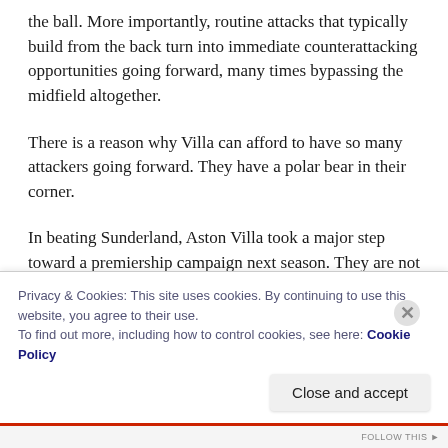the ball. More importantly, routine attacks that typically build from the back turn into immediate counterattacking opportunities going forward, many times bypassing the midfield altogether.
There is a reason why Villa can afford to have so many attackers going forward. They have a polar bear in their corner.
In beating Sunderland, Aston Villa took a major step toward a premiership campaign next season. They are not clear yet, but if they survive the relegation battle,
Privacy & Cookies: This site uses cookies. By continuing to use this website, you agree to their use.
To find out more, including how to control cookies, see here: Cookie Policy